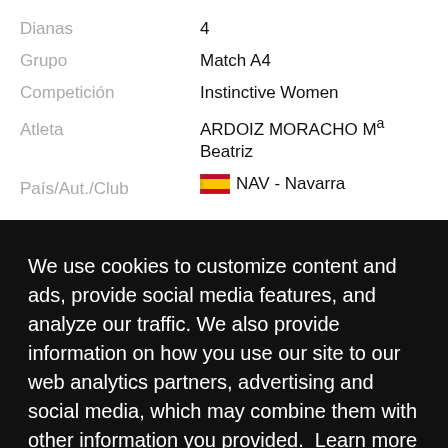| Dianas | 4 |
| Grupo | Match A4 |
| Competición | Instinctive Women |
| Atleta | ARDOIZ MORACHO Mª Beatriz |
| País/Aut./Club | NAV - Navarra |
We use cookies to customize content and ads, provide social media features, and analyze our traffic. We also provide information on how you use our site to our web analytics partners, advertising and social media, which may combine them with other information you provided. Learn more
Got it!